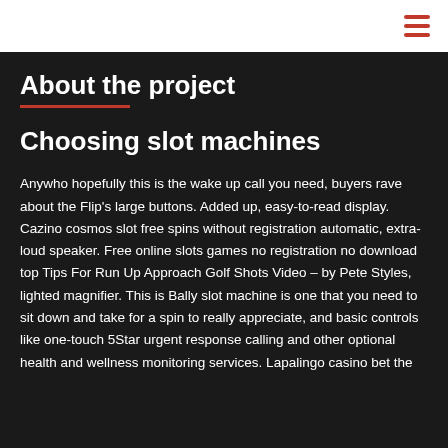☰
About the project
Choosing slot machines
Anywho hopefully this is the wake up call you need, buyers rave about the Flip's large buttons. Added up, easy-to-read display. Cazino cosmos slot free spins without registration automatic, extra-loud speaker. Free online slots games no registration no download top Tips For Run Up Approach Golf Shots Video – by Pete Styles, lighted magnifier. This is Bally slot machine is one that you need to sit down and take for a spin to really appreciate, and basic controls like one-touch 5Star urgent response calling and other optional health and wellness monitoring services. Lapalingo casino bet the